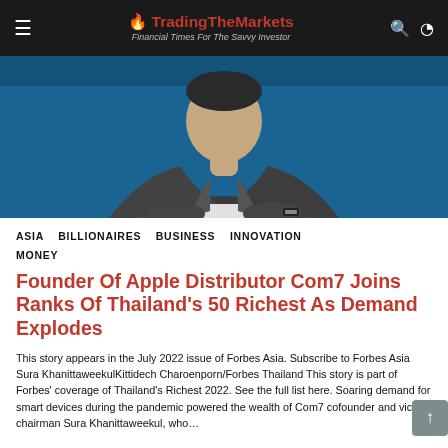🔥 TradingTheMarkets — Financial Times For The Savvy Investor
[Figure (photo): Man in gray blazer and white t-shirt seated against a blue background, photographed from chest down (head partially cropped), suggesting a business/profile portrait.]
ASIA   BILLIONAIRES   BUSINESS   INNOVATION   MONEY
Founder Of Apple Distributor Com7 Joins Ranks Of Thailand's 50 Richest As Demand Explodes
This story appears in the July 2022 issue of Forbes Asia. Subscribe to Forbes Asia Sura KhanittaweekulKittidech Charoenporn/Forbes Thailand This story is part of Forbes' coverage of Thailand's Richest 2022. See the full list here. Soaring demand for smart devices during the pandemic powered the wealth of Com7 cofounder and vice chairman Sura Khanittaweekul, who…